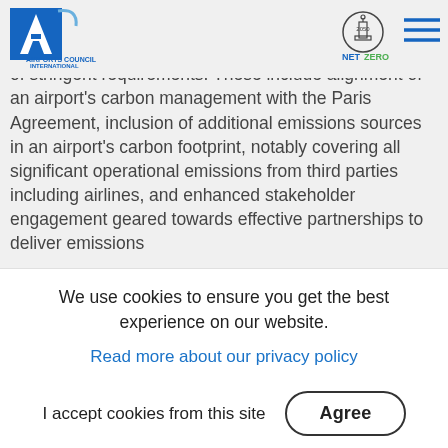ACI Airports Council International | Net Zero 2050 logo | Navigation menu
The recently introduced Levels 4 and 4+ of Airport Carbon Accreditation come with a set of stringent requirements. These include alignment of an airport's carbon management with the Paris Agreement, inclusion of additional emissions sources in an airport's carbon footprint, notably covering all significant operational emissions from third parties including airlines, and enhanced stakeholder engagement geared towards effective partnerships to deliver emissions
We use cookies to ensure you get the best experience on our website.
Read more about our privacy policy
I accept cookies from this site
Agree